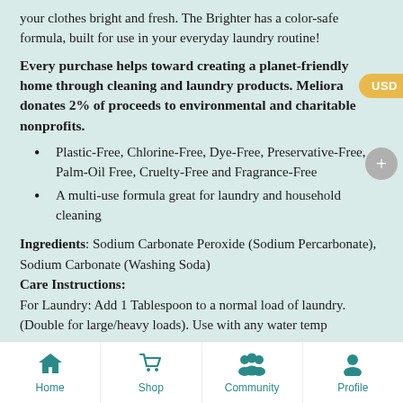your clothes bright and fresh. The Brighter has a color-safe formula, built for use in your everyday laundry routine!
Every purchase helps toward creating a planet-friendly home through cleaning and laundry products. Meliora donates 2% of proceeds to environmental and charitable nonprofits.
Plastic-Free, Chlorine-Free, Dye-Free, Preservative-Free, Palm-Oil Free, Cruelty-Free and Fragrance-Free
A multi-use formula great for laundry and household cleaning
Ingredients: Sodium Carbonate Peroxide (Sodium Percarbonate), Sodium Carbonate (Washing Soda)
Care Instructions:
For Laundry: Add 1 Tablespoon to a normal load of laundry. (Double for large/heavy loads). Use with any water temp
Home | Shop | Community | Profile